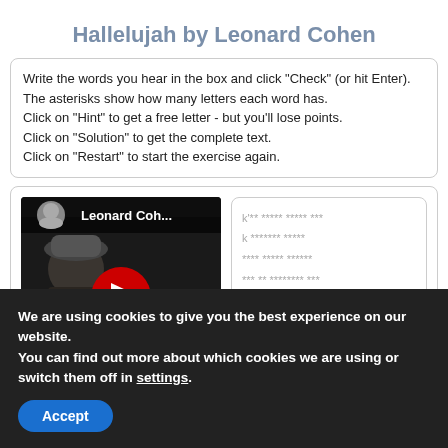Hallelujah by Leonard Cohen
Write the words you hear in the box and click "Check" (or hit Enter). The asterisks show how many letters each word has. Click on "Hint" to get a free letter - but you'll lose points. Click on "Solution" to get the complete text. Click on "Restart" to start the exercise again.
[Figure (screenshot): YouTube video thumbnail showing Leonard Cohen with play button overlay and text 'Leonard Coh...']
k'** ***** ***** ***
k ******* *****
**** ***** ******
*** ** ******** ***
****
We are using cookies to give you the best experience on our website.
You can find out more about which cookies we are using or switch them off in settings.
Accept